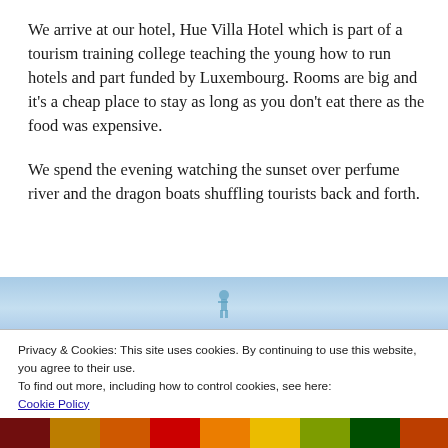We arrive at our hotel, Hue Villa Hotel which is part of a tourism training college teaching the young how to run hotels and part funded by Luxembourg. Rooms are big and it's a cheap place to stay as long as you don't eat there as the food was expensive.
We spend the evening watching the sunset over perfume river and the dragon boats shuffling tourists back and forth.
[Figure (photo): Partial view of an image with a light blue sky background and a small figure silhouette, part of a cookie consent banner overlay on a travel blog]
Privacy & Cookies: This site uses cookies. By continuing to use this website, you agree to their use.
To find out more, including how to control cookies, see here:
Cookie Policy
Close and accept
[Figure (photo): Colorful photo strip at the bottom showing vibrant market or floral imagery in red, orange, yellow and green colors]